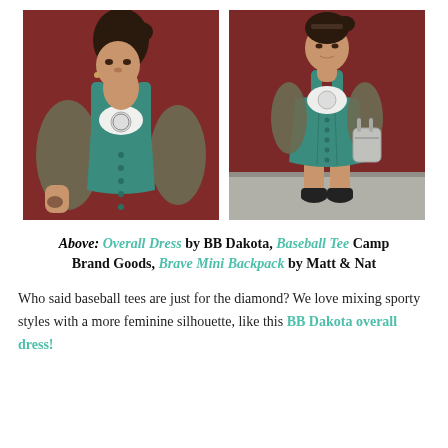[Figure (photo): Two side-by-side fashion photos of an Asian woman wearing a teal/green denim overall dress over a baseball tee. Left photo is a close-up showing the top half of the outfit against a dark red/maroon wall. Right photo is a full-body shot showing the complete outfit including black ankle boots and a small grey backpack, against the same maroon wall.]
Above: Overall Dress by BB Dakota, Baseball Tee Camp Brand Goods, Brave Mini Backpack by Matt & Nat
Who said baseball tees are just for the diamond? We love mixing sporty styles with a more feminine silhouette, like this BB Dakota overall dress!